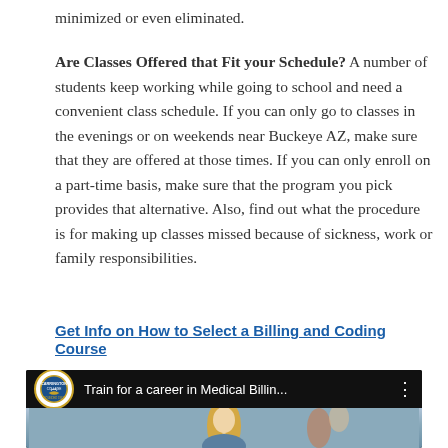minimized or even eliminated.
Are Classes Offered that Fit your Schedule? A number of students keep working while going to school and need a convenient class schedule. If you can only go to classes in the evenings or on weekends near Buckeye AZ, make sure that they are offered at those times. If you can only enroll on a part-time basis, make sure that the program you pick provides that alternative. Also, find out what the procedure is for making up classes missed because of sickness, work or family responsibilities.
Get Info on How to Select a Billing and Coding Course
[Figure (screenshot): Video thumbnail showing Carrington College logo and title 'Train for a career in Medical Billin...' with a woman with blonde hair in a medical setting]